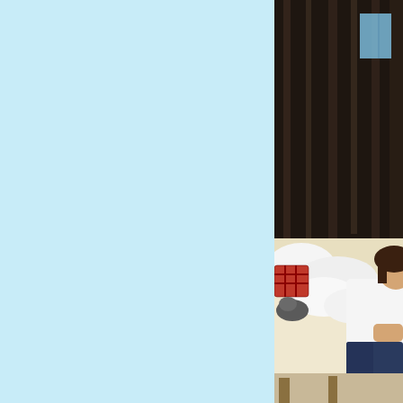[Figure (photo): Left portion: solid light blue background panel. Right portion: Indoor photo showing a person in a white t-shirt and dark jeans sitting on a cream/beige sofa or couch with white blankets and a plaid/tartan pillow. Dark curtains hang in the background.]